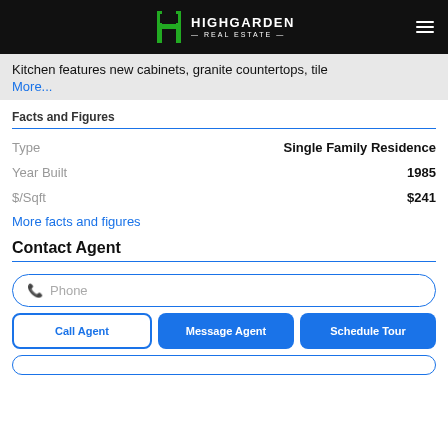Highgarden Real Estate
Kitchen features new cabinets, granite countertops, tile
More...
Facts and Figures
| Field | Value |
| --- | --- |
| Type | Single Family Residence |
| Year Built | 1985 |
| $/Sqft | $241 |
More facts and figures
Contact Agent
Phone
Call Agent | Message Agent | Schedule Tour